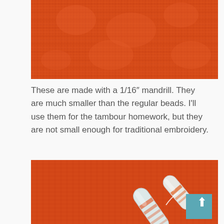[Figure (photo): Close-up photograph of orange/red textured fabric or embroidery material showing detailed weave pattern with raised floral or patterned texture in orange tones.]
These are made with a 1/16″ mandrill. They are much smaller than the regular beads. I'll use them for the tambour homework, but they are not small enough for traditional embroidery.
[Figure (photo): Close-up photograph of orange-red woven fabric with two white/ceramic beads with orange stripe decoration resting on the fabric surface. A scroll-to-top button (teal/blue with white upward arrow) is overlaid in the bottom right corner.]